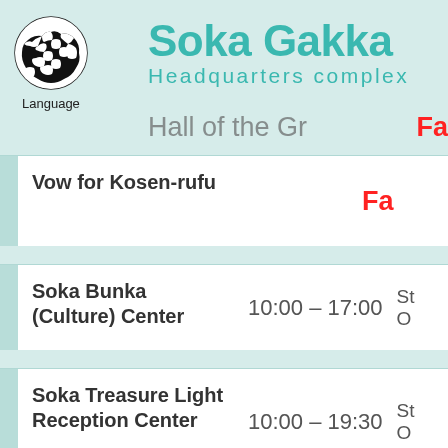Soka Gakka Headquarters complex
[Figure (logo): Circular logo with world map silhouette in black and white]
Language
| Facility | Hours | Status |
| --- | --- | --- |
| Vow for Kosen-rufu |  | Fa... |
| Soka Bunka (Culture) Center | 10:00 – 17:00 | St... O... |
| Soka Treasure Light Reception Center | 10:00 – 19:30 | St... O... |
| Shinano Peace Center |  | Fa... |
| World Seikyo |  | St... |